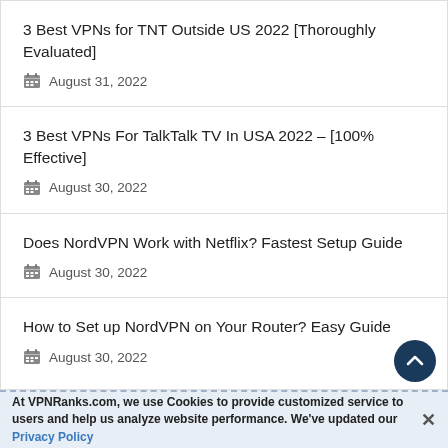3 Best VPNs for TNT Outside US 2022 [Thoroughly Evaluated]
August 31, 2022
3 Best VPNs For TalkTalk TV In USA 2022 – [100% Effective]
August 30, 2022
Does NordVPN Work with Netflix? Fastest Setup Guide
August 30, 2022
How to Set up NordVPN on Your Router? Easy Guide
August 30, 2022
At VPNRanks.com, we use Cookies to provide customized service to users and help us analyze website performance. We've updated our Privacy Policy